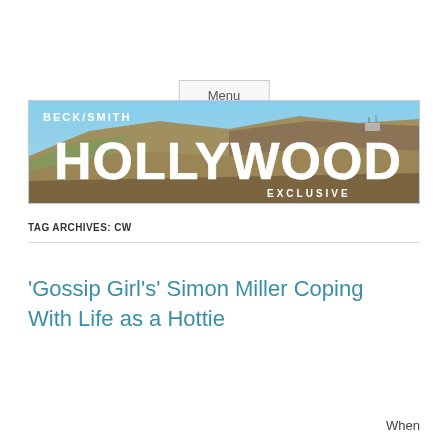Menu
[Figure (illustration): Beck/Smith Hollywood Exclusive banner image showing the Hollywood sign on a hillside with blue sky. White text reads BECK/SMITH top left and HOLLYWOOD in large white letters center, EXCLUSIVE in smaller white letters below.]
TAG ARCHIVES: CW
‘Gossip Girl’s’ Simon Miller Coping With Life as a Hottie
When